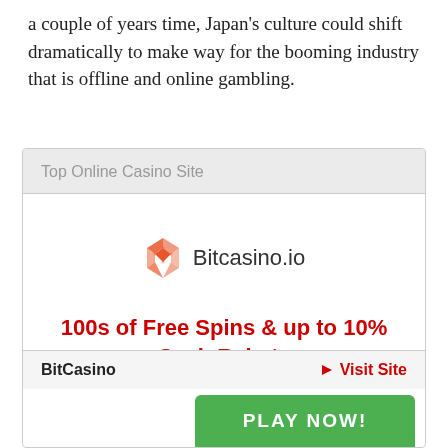a couple of years time, Japan's culture could shift dramatically to make way for the booming industry that is offline and online gambling.
Top Online Casino Site
[Figure (logo): Bitcasino.io logo with orange diamond/arrow icon and text 'Bitcasino.io']
100s of Free Spins & up to 10% Cash Rebate
BitCasino  ▶ Visit Site
PLAY NOW!